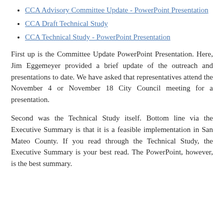CCA Advisory Committee Update - PowerPoint Presentation
CCA Draft Technical Study
CCA Technical Study - PowerPoint Presentation
First up is the Committee Update PowerPoint Presentation. Here, Jim Eggemeyer provided a brief update of the outreach and presentations to date. We have asked that representatives attend the November 4 or November 18 City Council meeting for a presentation.
Second was the Technical Study itself. Bottom line via the Executive Summary is that it is a feasible implementation in San Mateo County. If you read through the Technical Study, the Executive Summary is your best read. The PowerPoint, however, is the best summary.